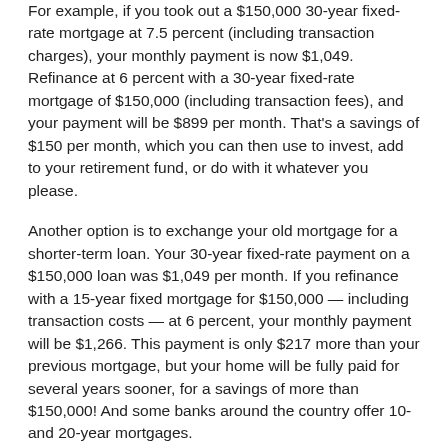For example, if you took out a $150,000 30-year fixed-rate mortgage at 7.5 percent (including transaction charges), your monthly payment is now $1,049. Refinance at 6 percent with a 30-year fixed-rate mortgage of $150,000 (including transaction fees), and your payment will be $899 per month. That's a savings of $150 per month, which you can then use to invest, add to your retirement fund, or do with it whatever you please.
Another option is to exchange your old mortgage for a shorter-term loan. Your 30-year fixed-rate payment on a $150,000 loan was $1,049 per month. If you refinance with a 15-year fixed mortgage for $150,000 — including transaction costs — at 6 percent, your monthly payment will be $1,266. This payment is only $217 more than your previous mortgage, but your home will be fully paid for several years sooner, for a savings of more than $150,000! And some banks around the country offer 10- and 20-year mortgages.